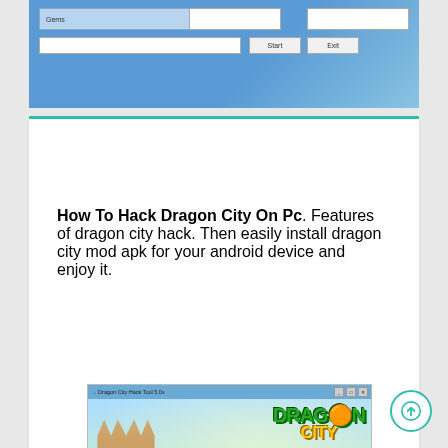[Figure (screenshot): Top portion of a Dragon City Hack Tool software interface with blue background, showing input fields labeled 'Gems', a progress bar, and Start/Exit buttons]
How To Hack Dragon City On Pc. Features of dragon city hack. Then easily install dragon city mod apk for your android device and enjoy it.
[Figure (screenshot): Dragon City Hack Tool 5.0x application window showing the Dragon City game logo with green 'DRAGON' and yellow 'CITY' text, a socialpoint badge, a sand castle, and several colorful dragons (red, blue, gold, small blue)]